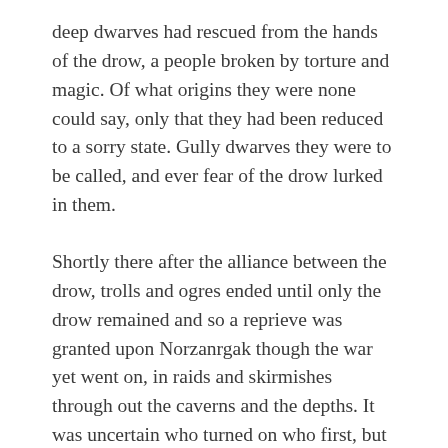deep dwarves had rescued from the hands of the drow, a people broken by torture and magic. Of what origins they were none could say, only that they had been reduced to a sorry state. Gully dwarves they were to be called, and ever fear of the drow lurked in them.
Shortly there after the alliance between the drow, trolls and ogres ended until only the drow remained and so a reprieve was granted upon Norzanrgak though the war yet went on, in raids and skirmishes through out the caverns and the depths. It was uncertain who turned on who first, but the three races all turned on each other, with the drow emerging triumphant.
During this period, the refugees settled into their new life with the hill dwarves. The deep dwarves, under their Uncrowned King, began to explore the depths below